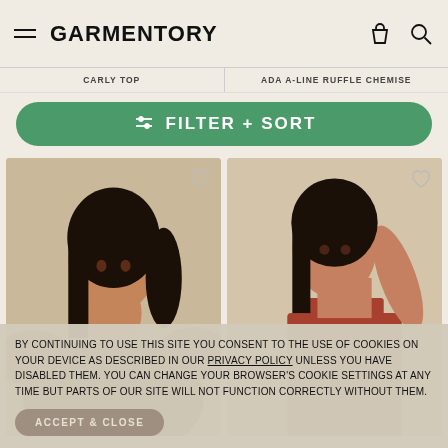GARMENTORY
CARLY TOP | ADA A-LINE RUFFLE CHEMISE
FILTER + SORT
[Figure (photo): Two fashion product photos side by side: left shows a woman in a brown puff-sleeve top, right shows a woman in a rust/terracotta sleeveless turtleneck top with arm raised]
BY CONTINUING TO USE THIS SITE YOU CONSENT TO THE USE OF COOKIES ON YOUR DEVICE AS DESCRIBED IN OUR PRIVACY POLICY UNLESS YOU HAVE DISABLED THEM. YOU CAN CHANGE YOUR BROWSER'S COOKIE SETTINGS AT ANY TIME BUT PARTS OF OUR SITE WILL NOT FUNCTION CORRECTLY WITHOUT THEM.
ACCEPT & CLOSE